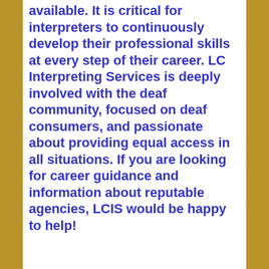available. It is critical for interpreters to continuously develop their professional skills at every step of their career. LC Interpreting Services is deeply involved with the deaf community, focused on deaf consumers, and passionate about providing equal access in all situations. If you are looking for career guidance and information about reputable agencies, LCIS would be happy to help!
Filed Under: ASL Interpreter NYC, ASL Lessons NYC, Deaf Community, Deaf FAQ's, Deaf Organizations, Lydia Callis, National Association for the Deaf, Private Sign Language Lessons, RID, Sign Language Interpreting Services, Sign Language Mentoring Services nyc